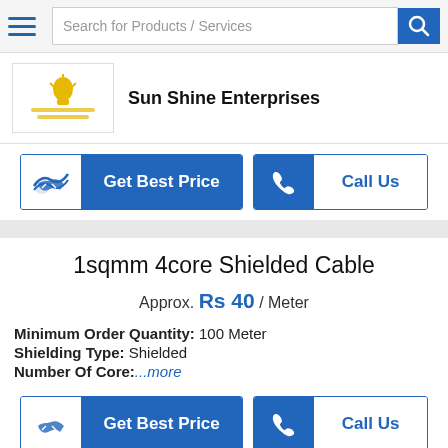Search for Products / Services
Sun Shine Enterprises
Get Best Price  Call Us
1sqmm 4core Shielded Cable
Approx. Rs 40 / Meter
Minimum Order Quantity: 100 Meter
Shielding Type: Shielded
Number Of Core:...more
Get Best Price  Call Us
Get 3 Batch Send 1.5Mt...